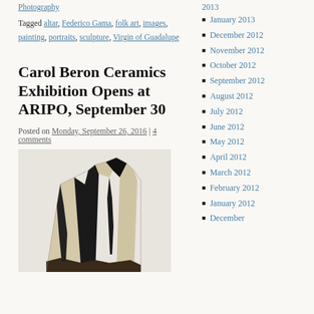Photography
Tagged altar, Federico Gama, folk art, images, painting, portraits, sculpture, Virgin of Guadalupe
Carol Beron Ceramics Exhibition Opens at ARIPO, September 30
Posted on Monday, September 26, 2016 | 4 comments
[Figure (photo): Photo of Carol Beron ceramic sculpture: abstract vessel-like form with alternating cream and black glazed panels, rough textured edges, viewed from above on a white background]
January 2013
December 2012
November 2012
October 2012
September 2012
August 2012
July 2012
June 2012
May 2012
April 2012
March 2012
February 2012
January 2012
December